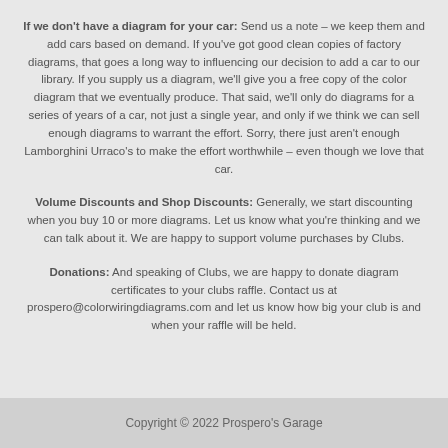If we don't have a diagram for your car: Send us a note – we keep them and add cars based on demand. If you've got good clean copies of factory diagrams, that goes a long way to influencing our decision to add a car to our library. If you supply us a diagram, we'll give you a free copy of the color diagram that we eventually produce. That said, we'll only do diagrams for a series of years of a car, not just a single year, and only if we think we can sell enough diagrams to warrant the effort. Sorry, there just aren't enough Lamborghini Urraco's to make the effort worthwhile – even though we love that car.
Volume Discounts and Shop Discounts: Generally, we start discounting when you buy 10 or more diagrams. Let us know what you're thinking and we can talk about it. We are happy to support volume purchases by Clubs.
Donations: And speaking of Clubs, we are happy to donate diagram certificates to your clubs raffle. Contact us at prospero@colorwiringdiagrams.com and let us know how big your club is and when your raffle will be held.
Copyright © 2022 Prospero's Garage